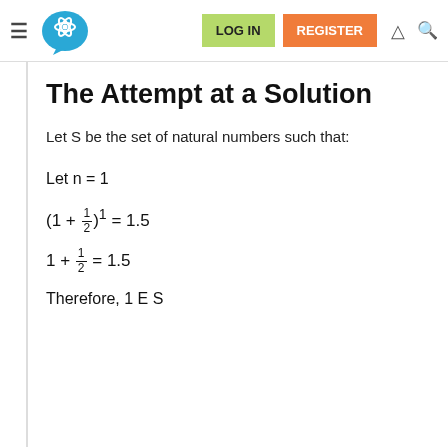LOG IN | REGISTER
The Attempt at a Solution
Let S be the set of natural numbers such that:
Let n = 1
Therefore, 1 E S